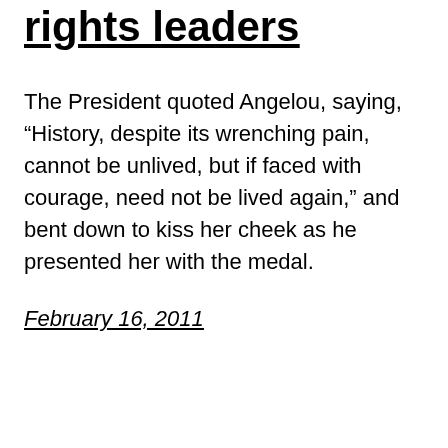rights leaders
The President quoted Angelou, saying, “History, despite its wrenching pain, cannot be unlived, but if faced with courage, need not be lived again,” and bent down to kiss her cheek as he presented her with the medal.
February 16, 2011